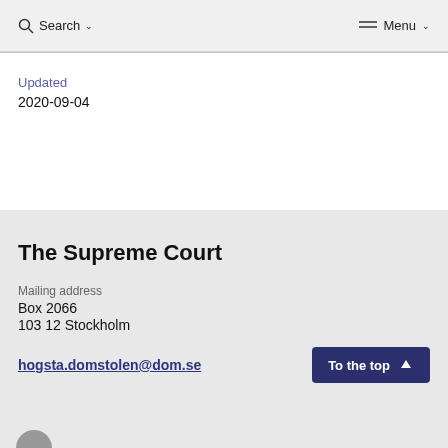Search ∨    Menu ∨
Updated
2020-09-04
The Supreme Court
Mailing address
Box 2066
103 12 Stockholm
hogsta.domstolen@dom.se
To the top ↑